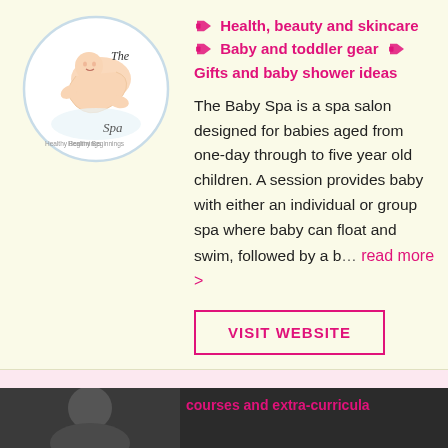[Figure (logo): The Baby Spa circular logo with baby illustration and text 'The Spa Healthy Beginnings']
Health, beauty and skincare  Baby and toddler gear  Gifts and baby shower ideas
The Baby Spa is a spa salon designed for babies aged from one-day through to five year old children. A session provides baby with either an individual or group spa where baby can float and swim, followed by a b… read more >
VISIT WEBSITE
The Pelvic Expert
[Figure (logo): The Pelvic Expert logo with heart/leaf shapes in red and purple, text 'THE PELVIC EXPERT']
Health, beauty and skincare  Classes, courses and extra-curricula